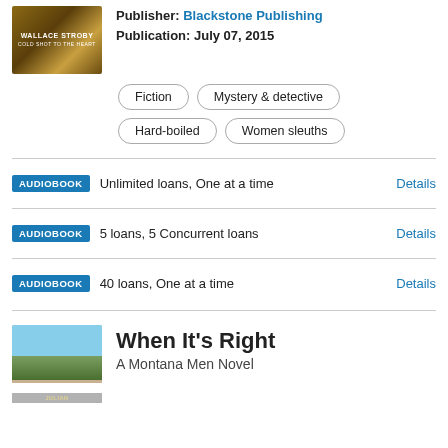[Figure (photo): Book cover with 'Wallace Stroby' text on brown/golden background]
Publisher: Blackstone Publishing
Publication: July 07, 2015
Fiction
Mystery & detective
Hard-boiled
Women sleuths
AUDIOBOOK  Unlimited loans, One at a time  Details
AUDIOBOOK  5 loans, 5 Concurrent loans  Details
AUDIOBOOK  40 loans, One at a time  Details
[Figure (photo): Book cover for 'When It's Right' showing a man in cowboy hat outdoors]
When It's Right
A Montana Men Novel